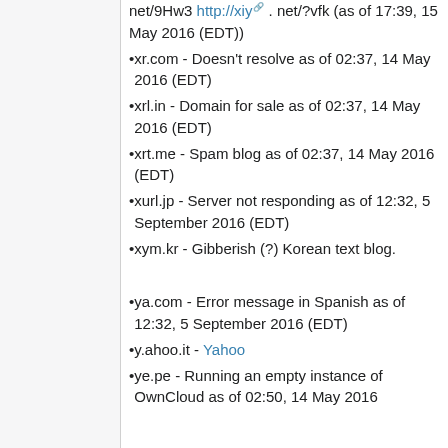net/9Hw3 http://xiy . net/?vfk (as of 17:39, 15 May 2016 (EDT))
xr.com - Doesn't resolve as of 02:37, 14 May 2016 (EDT)
xrl.in - Domain for sale as of 02:37, 14 May 2016 (EDT)
xrt.me - Spam blog as of 02:37, 14 May 2016 (EDT)
xurl.jp - Server not responding as of 12:32, 5 September 2016 (EDT)
xym.kr - Gibberish (?) Korean text blog.
ya.com - Error message in Spanish as of 12:32, 5 September 2016 (EDT)
y.ahoo.it - Yahoo
ye.pe - Running an empty instance of OwnCloud as of 02:50, 14 May 2016